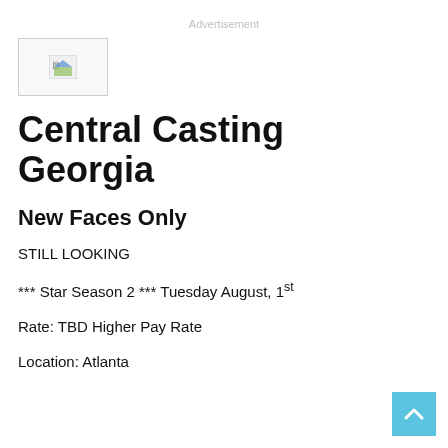Advertisement
[Figure (logo): Small broken image/logo placeholder box in top left]
Central Casting Georgia
New Faces Only
STILL LOOKING
*** Star Season 2 *** Tuesday August, 1st
Rate: TBD Higher Pay Rate
Location: Atlanta